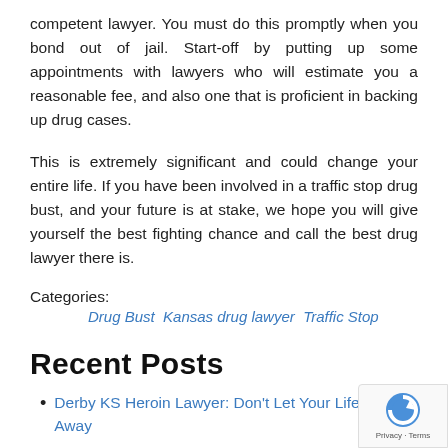competent lawyer. You must do this promptly when you bond out of jail. Start-off by putting up some appointments with lawyers who will estimate you a reasonable fee, and also one that is proficient in backing up drug cases.
This is extremely significant and could change your entire life. If you have been involved in a traffic stop drug bust, and your future is at stake, we hope you will give yourself the best fighting chance and call the best drug lawyer there is.
Categories:
Drug Bust Kansas drug lawyer Traffic Stop
Recent Posts
Derby KS Heroin Lawyer: Don't Let Your Life Slip Away